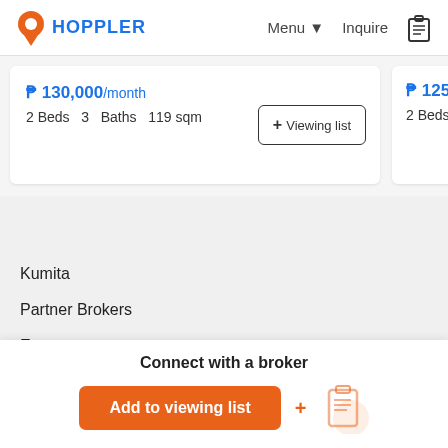HOPPLER   Menu   Inquire
₱ 130,000/month   2 Beds  3  Baths  119 sqm
+ Viewing list
₱ 125,000/m   2 Beds  2 Ba
Kumita
Partner Brokers
Events
Rent vs Buy Calculator
Sitemap
FAQs
Connect with a broker
Add to viewing list